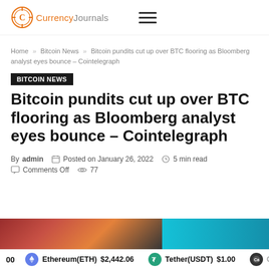Currency Journals
Home » Bitcoin News » Bitcoin pundits cut up over BTC flooring as Bloomberg analyst eyes bounce – Cointelegraph
BITCOIN NEWS
Bitcoin pundits cut up over BTC flooring as Bloomberg analyst eyes bounce – Cointelegraph
By admin   Posted on January 26, 2022   5 min read   Comments Off   77